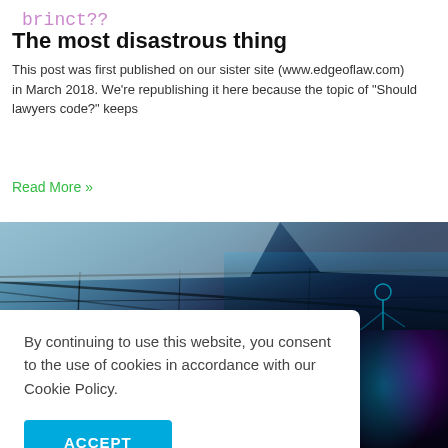brinct?
The most disastrous thing
This post was first published on our sister site (www.edgeoflaw.com) in March 2018. We're republishing it here because the topic of "Should lawyers code?" keeps
Read More »
[Figure (photo): Dark moody interior photo showing ceiling cables and structural elements with blue-teal lighting gradient, with a glowing neon figure visible on the right side]
By continuing to use this website, you consent to the use of cookies in accordance with our Cookie Policy.
ACCEPT